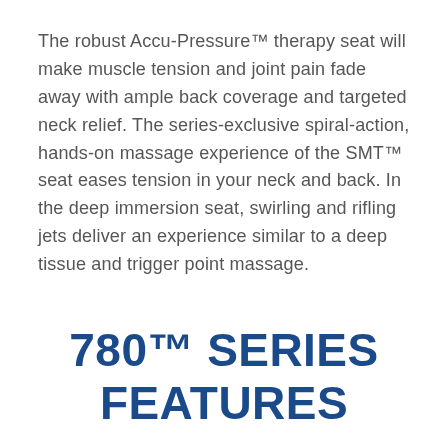The robust Accu-Pressure™ therapy seat will make muscle tension and joint pain fade away with ample back coverage and targeted neck relief. The series-exclusive spiral-action, hands-on massage experience of the SMT™ seat eases tension in your neck and back. In the deep immersion seat, swirling and rifling jets deliver an experience similar to a deep tissue and trigger point massage.
780™ SERIES FEATURES